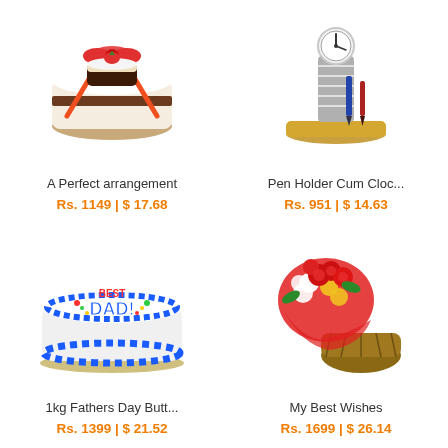[Figure (photo): A cake with red ribbon and chocolate decoration - gift arrangement]
A Perfect arrangement
Rs. 1149 | $ 17.68
[Figure (photo): Pen Holder Cum Clock - gold and silver desk accessory]
Pen Holder Cum Cloc...
Rs. 951 | $ 14.63
[Figure (photo): Round white cake with blue frosting border and Best DAD! text decoration]
1kg Fathers Day Butt...
Rs. 1399 | $ 21.52
[Figure (photo): Flower bouquet wrapped in red with yellow and white flowers, and a small woven basket]
My Best Wishes
Rs. 1699 | $ 26.14